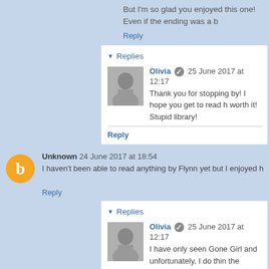But I'm so glad you enjoyed this one! Even if the ending was a b
Reply
Replies
Olivia  25 June 2017 at 12:17
Thank you for stopping by! I hope you get to read h worth it! Stupid library!
Reply
Unknown  24 June 2017 at 18:54
I haven't been able to read anything by Flynn yet but I enjoyed h
Reply
Replies
Olivia  25 June 2017 at 12:17
I have only seen Gone Girl and unfortunately, I do thin the movies loses its impact.